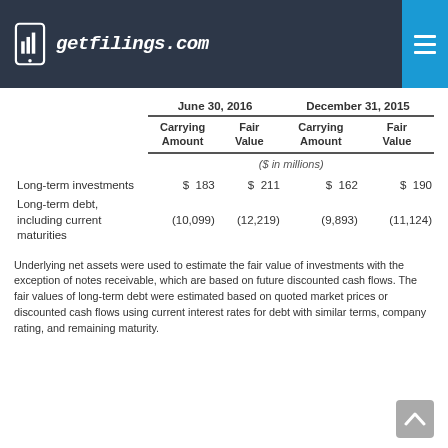getfilings.com
|  | June 30, 2016 Carrying Amount | June 30, 2016 Fair Value | December 31, 2015 Carrying Amount | December 31, 2015 Fair Value |
| --- | --- | --- | --- | --- |
| Long-term investments | $ 183 | $ 211 | $ 162 | $ 190 |
| Long-term debt, including current maturities | (10,099) | (12,219) | (9,893) | (11,124) |
Underlying net assets were used to estimate the fair value of investments with the exception of notes receivable, which are based on future discounted cash flows. The fair values of long-term debt were estimated based on quoted market prices or discounted cash flows using current interest rates for debt with similar terms, company rating, and remaining maturity.